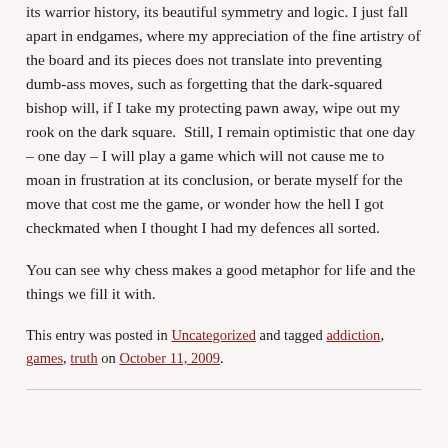its warrior history, its beautiful symmetry and logic. I just fall apart in endgames, where my appreciation of the fine artistry of the board and its pieces does not translate into preventing dumb-ass moves, such as forgetting that the dark-squared bishop will, if I take my protecting pawn away, wipe out my rook on the dark square. Still, I remain optimistic that one day – one day – I will play a game which will not cause me to moan in frustration at its conclusion, or berate myself for the move that cost me the game, or wonder how the hell I got checkmated when I thought I had my defences all sorted.
You can see why chess makes a good metaphor for life and the things we fill it with.
This entry was posted in Uncategorized and tagged addiction, games, truth on October 11, 2009.